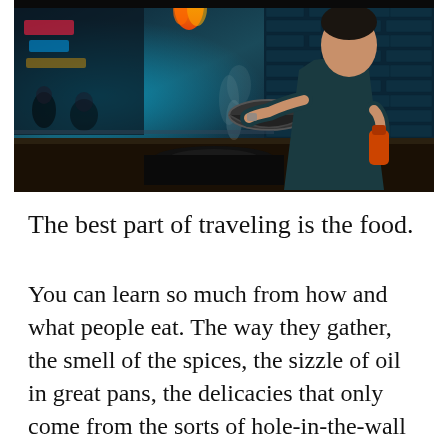[Figure (photo): A chef cooking in a restaurant kitchen, tossing food in a wok with flames visible. The kitchen has dark teal brick walls. The chef wears a dark t-shirt and is seen from the side. Neon lights and market stalls visible through a window in the background.]
The best part of traveling is the food.
You can learn so much from how and what people eat. The way they gather, the smell of the spices, the sizzle of oil in great pans, the delicacies that only come from the sorts of hole-in-the-wall places that locals protect with